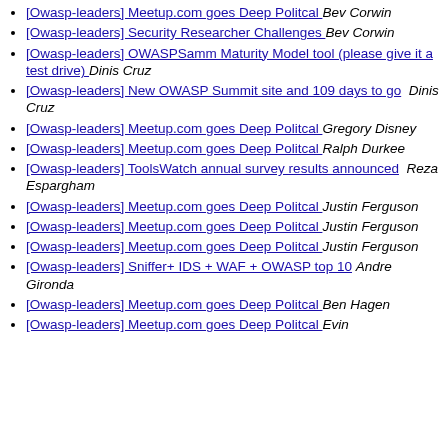[Owasp-leaders] Meetup.com goes Deep Politcal  Bev Corwin
[Owasp-leaders] Security Researcher Challenges  Bev Corwin
[Owasp-leaders] OWASPSamm Maturity Model tool (please give it a test drive)  Dinis Cruz
[Owasp-leaders] New OWASP Summit site and 109 days to go  Dinis Cruz
[Owasp-leaders] Meetup.com goes Deep Politcal  Gregory Disney
[Owasp-leaders] Meetup.com goes Deep Politcal  Ralph Durkee
[Owasp-leaders] ToolsWatch annual survey results announced  Reza Espargham
[Owasp-leaders] Meetup.com goes Deep Politcal  Justin Ferguson
[Owasp-leaders] Meetup.com goes Deep Politcal  Justin Ferguson
[Owasp-leaders] Meetup.com goes Deep Politcal  Justin Ferguson
[Owasp-leaders] Sniffer+ IDS + WAF + OWASP top 10  Andre Gironda
[Owasp-leaders] Meetup.com goes Deep Politcal  Ben Hagen
[Owasp-leaders] Meetup.com goes Deep Politcal  Evin